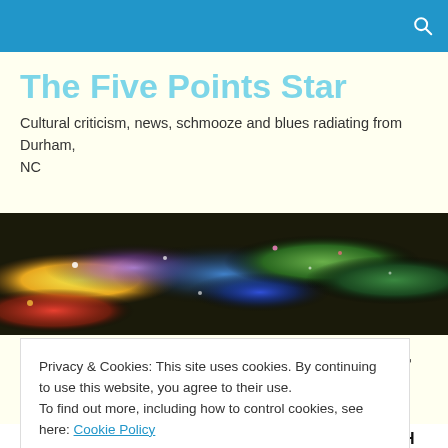The Five Points Star — navigation bar with search icon
The Five Points Star
Cultural criticism, news, schmooze and blues radiating from Durham, NC
[Figure (photo): A colorful nebula/space image banner with vivid yellows, oranges, reds, blues, and greens, used as a website header banner.]
Ivey on Ice Skates, and Other
Privacy & Cookies: This site uses cookies. By continuing to use this website, you agree to their use.
To find out more, including how to control cookies, see here: Cookie Policy
Close and accept
OF THIS SHOW HAS BEEN EXTENDED THROUGH